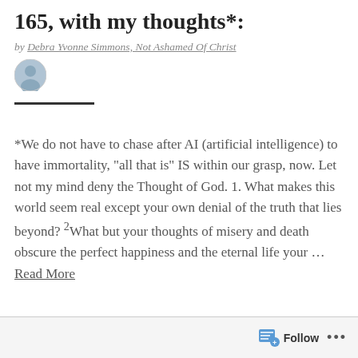165, with my thoughts*:
by Debra Yvonne Simmons, Not Ashamed Of Christ
[Figure (photo): Small circular avatar photo of a person]
*We do not have to chase after AI (artificial intelligence) to have immortality, “all that is” IS within our grasp, now. Let not my mind deny the Thought of God. 1. What makes this world seem real except your own denial of the truth that lies beyond? ²What but your thoughts of misery and death obscure the perfect happiness and the eternal life your … Read More
Follow …